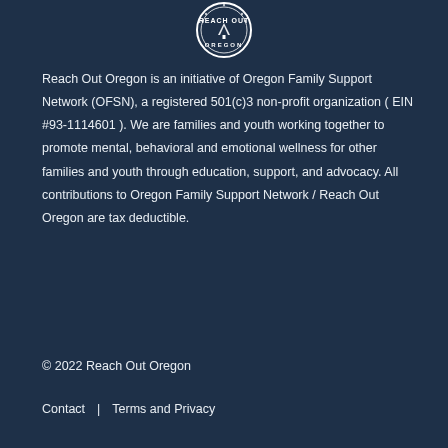[Figure (logo): Reach Out Oregon / Oregon circular badge logo in white on dark navy background]
Reach Out Oregon is an initiative of Oregon Family Support Network (OFSN), a registered 501(c)3 non-profit organization ( EIN #93-1114601 ). We are families and youth working together to promote mental, behavioral and emotional wellness for other families and youth through education, support, and advocacy. All contributions to Oregon Family Support Network / Reach Out Oregon are tax deductible.
© 2022 Reach Out Oregon
Contact | Terms and Privacy